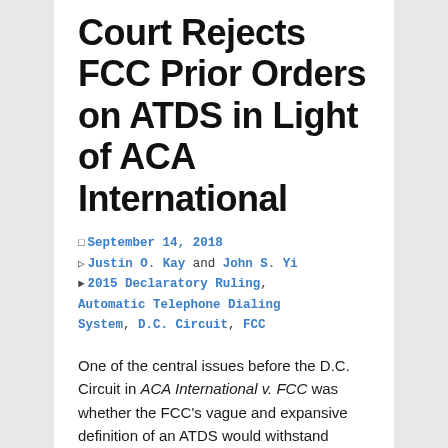Court Rejects FCC Prior Orders on ATDS in Light of ACA International
September 14, 2018 | Justin O. Kay and John S. Yi | 2015 Declaratory Ruling, Automatic Telephone Dialing System, D.C. Circuit, FCC
One of the central issues before the D.C. Circuit in ACA International v. FCC was whether the FCC's vague and expansive definition of an ATDS would withstand judicial scrutiny. It did not, and